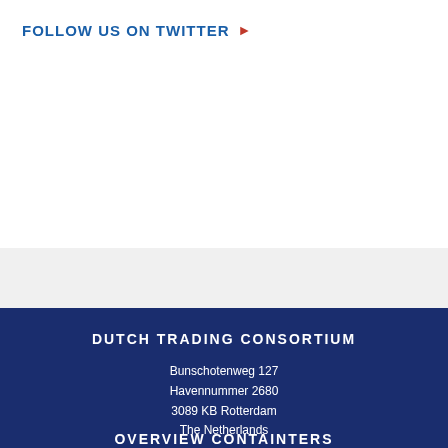FOLLOW US ON TWITTER ▶
DUTCH TRADING CONSORTIUM
Bunschotenweg 127
Havennummer 2680
3089 KB Rotterdam
The Netherlands

E: info@dtc.nl
T: +31 (0)10 4292955
F: +31 (0)10 4292606
OVERVIEW CONTAINTERS